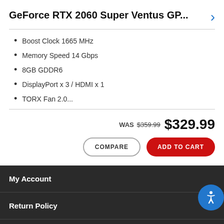GeForce RTX 2060 Super Ventus GP...
Boost Clock 1665 MHz
Memory Speed 14 Gbps
8GB GDDR6
DisplayPort x 3 / HDMI x 1
TORX Fan 2.0...
WAS $359.99 $329.99
COMPARE  ADD TO CART
My Account
Return Policy
Shipping Information